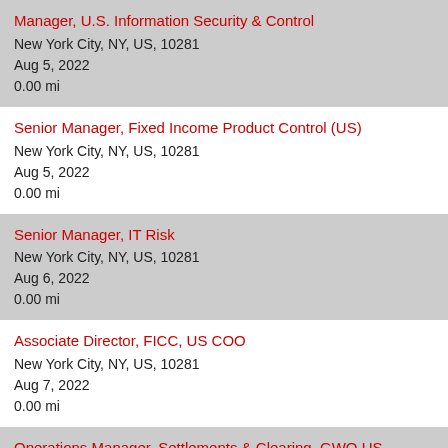Manager, U.S. Information Security & Control
New York City, NY, US, 10281
Aug 5, 2022
0.00 mi
Senior Manager, Fixed Income Product Control (US)
New York City, NY, US, 10281
Aug 5, 2022
0.00 mi
Senior Manager, IT Risk
New York City, NY, US, 10281
Aug 6, 2022
0.00 mi
Associate Director, FICC, US COO
New York City, NY, US, 10281
Aug 7, 2022
0.00 mi
Operations Manager, Settlements & Clearing, GWO US
New York City, NY, US, 10281